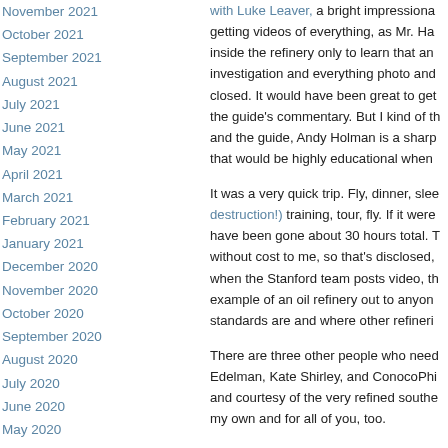November 2021
October 2021
September 2021
August 2021
July 2021
June 2021
May 2021
April 2021
March 2021
February 2021
January 2021
December 2020
November 2020
October 2020
September 2020
August 2020
July 2020
June 2020
May 2020
April 2020
March 2020
February 2020
January 2020
December 2019
November 2019
October 2019
with Luke Leaver, a bright impressiona getting videos of everything, as Mr. Ha inside the refinery only to learn that an investigation and everything photo and closed. It would have been great to get the guide's commentary. But I kind of th and the guide, Andy Holman is a sharp that would be highly educational when
It was a very quick trip. Fly, dinner, slee destruction!) training, tour, fly. If it were have been gone about 30 hours total. T without cost to me, so that's disclosed, when the Stanford team posts video, th example of an oil refinery out to anyon standards are and where other refineri
There are three other people who need Edelman, Kate Shirley, and ConocoPhi and courtesy of the very refined southe my own and for all of you, too.